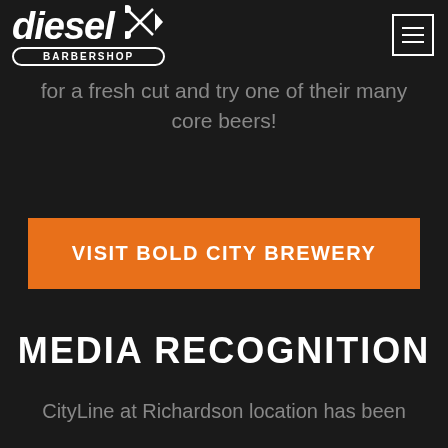diesel BARBERSHOP
for a fresh cut and try one of their many core beers!
VISIT BOLD CITY BREWERY
MEDIA RECOGNITION
CityLine at Richardson location has been